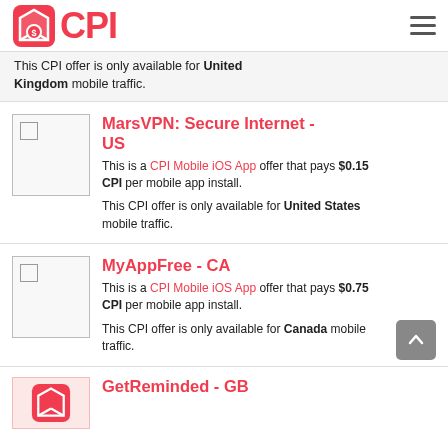CPI
This CPI offer is only available for United Kingdom mobile traffic.
MarsVPN: Secure Internet - US
This is a CPI Mobile iOS App offer that pays $0.15 CPI per mobile app install. This CPI offer is only available for United States mobile traffic.
MyAppFree - CA
This is a CPI Mobile iOS App offer that pays $0.75 CPI per mobile app install. This CPI offer is only available for Canada mobile traffic.
GetReminded - GB